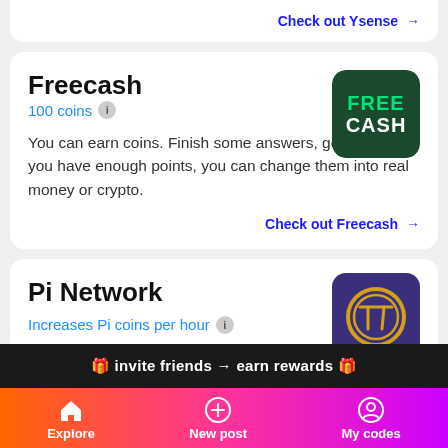Check out Ysense →
Freecash
100 coins ℹ
You can earn coins. Finish some answers, get points. If you have enough points, you can change them into real money or crypto.
Check out Freecash →
[Figure (logo): Freecash app logo — dark green background with FREE in green and CASH in white text]
Pi Network
Increases Pi coins per hour ℹ
[Figure (logo): Pi Network logo — dark purple background with gold Pi symbol coin icon]
🎁 invite friends → earn rewards 🎁
Explore   New post   My codes